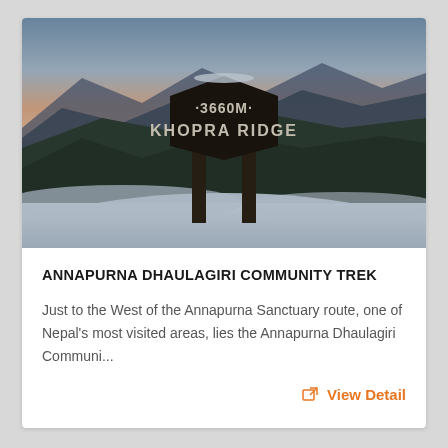[Figure (photo): Mountain sign reading '3660M KHOPRA RIDGE' in snowy landscape with mountain valley and orange-pink sunset sky in background]
ANNAPURNA DHAULAGIRI COMMUNITY TREK
Just to the West of the Annapurna Sanctuary route, one of Nepal's most visited areas, lies the Annapurna Dhaulagiri Communi...
View Detail